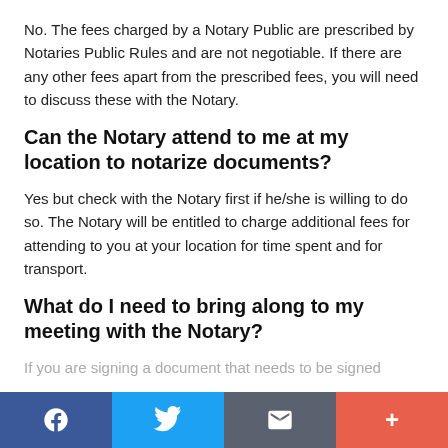No. The fees charged by a Notary Public are prescribed by Notaries Public Rules and are not negotiable. If there are any other fees apart from the prescribed fees, you will need to discuss these with the Notary.
Can the Notary attend to me at my location to notarize documents?
Yes but check with the Notary first if he/she is willing to do so. The Notary will be entitled to charge additional fees for attending to you at your location for time spent and for transport.
What do I need to bring along to my meeting with the Notary?
If you are signing a document that needs to be signed
Facebook | Twitter | Email | More